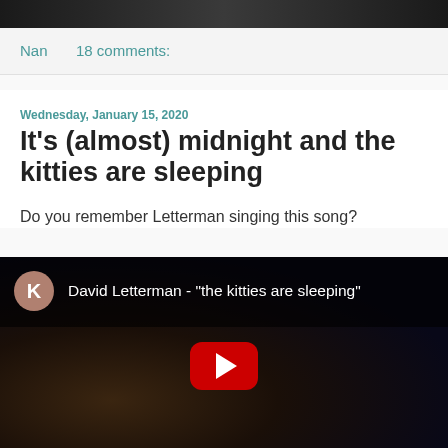[Figure (photo): Dark photograph at the top of the page, partially visible]
Nan   18 comments:
Wednesday, January 15, 2020
It's (almost) midnight and the kitties are sleeping
Do you remember Letterman singing this song?
[Figure (screenshot): YouTube video thumbnail showing David Letterman - "the kitties are sleeping" with a red play button and avatar icon with letter K]